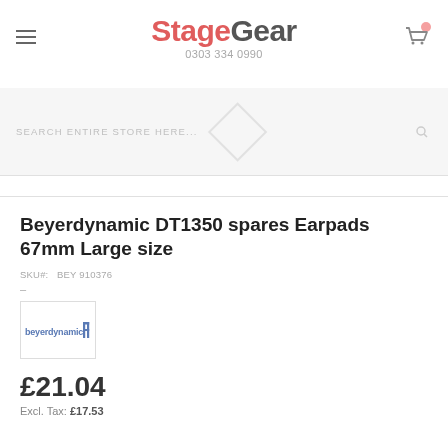StageGear 0303 334 0990
SEARCH ENTIRE STORE HERE...
Beyerdynamic DT1350 spares Earpads 67mm Large size
SKU#: BEY 910376
[Figure (logo): Beyerdynamic brand logo thumbnail in a small square image box]
£21.04
Excl. Tax: £17.53